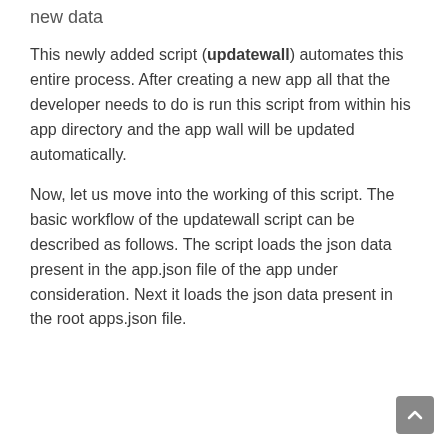new data
This newly added script (updatewall) automates this entire process. After creating a new app all that the developer needs to do is run this script from within his app directory and the app wall will be updated automatically.
Now, let us move into the working of this script. The basic workflow of the updatewall script can be described as follows. The script loads the json data present in the app.json file of the app under consideration. Next it loads the json data present in the root apps.json file.